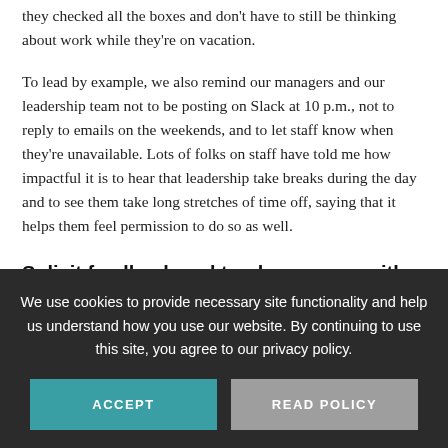they checked all the boxes and don't have to still be thinking about work while they're on vacation.
To lead by example, we also remind our managers and our leadership team not to be posting on Slack at 10 p.m., not to reply to emails on the weekends, and to let staff know when they're unavailable. Lots of folks on staff have told me how impactful it is to hear that leadership take breaks during the day and to see them take long stretches of time off, saying that it helps them feel permission to do so as well.
Solicit feedback and track progress with survey data
We use cookies to provide necessary site functionality and help us understand how you use our website. By continuing to use this site, you agree to our privacy policy.
ACCEPT
READ POLICY